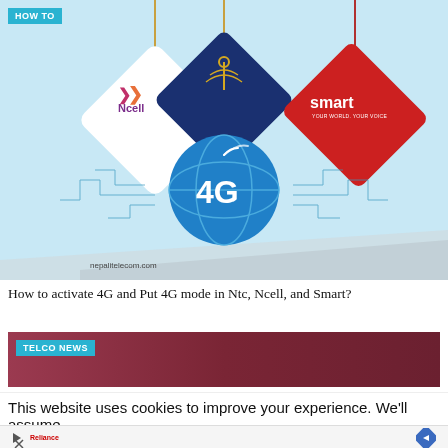[Figure (illustration): Promotional image showing hanging price-tag style logos for Ncell, NTC, and Smart telecom operators with a 4G globe icon in the center, on a light blue background. Text 'nepalitelecom.com' at bottom left. HOW TO badge in top left corner.]
How to activate 4G and Put 4G mode in Ntc, Ncell, and Smart?
[Figure (illustration): Dark red/maroon colored card with TELCO NEWS badge in top left corner.]
This website uses cookies to improve your experience. We'll assume
[Figure (screenshot): Advertisement bar at the bottom of the page with navigation arrow icon and small logo.]